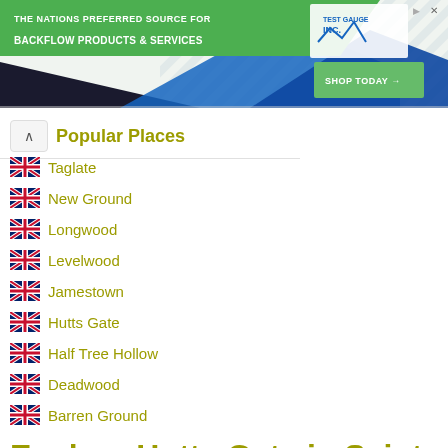[Figure (screenshot): Advertisement banner for Test Gauge Inc. - Backflow Products & Services with green and blue design, 'SHOP TODAY' button]
Popular Places
Taglate
New Ground
Longwood
Levelwood
Jamestown
Hutts Gate
Half Tree Hollow
Deadwood
Barren Ground
Explore Hutts Gate in Saint Helena
Hutts Gate in the region of Saint Helena is a place in Saint